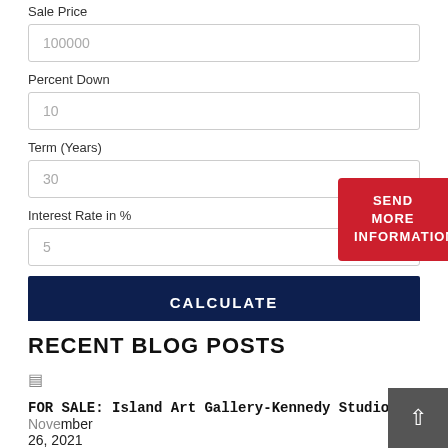100000
Percent Down
10
Term (Years)
30
Interest Rate in %
5
SEND MORE INFORMATION
CALCULATE
RECENT BLOG POSTS
FOR SALE: Island Art Gallery-Kennedy Studios November 26, 2021